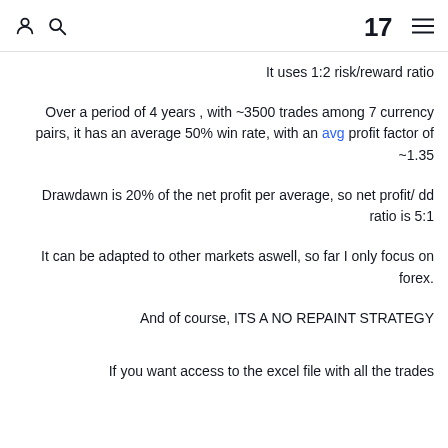[TradingView header with user, search, logo, and menu icons]
It uses 1:2 risk/reward ratio
Over a period of 4 years , with ~3500 trades among 7 currency pairs, it has an average 50% win rate, with an avg profit factor of ~1.35
Drawdawn is 20% of the net profit per average, so net profit/ dd ratio is 5:1
It can be adapted to other markets aswell, so far I only focus on forex.
And of course, ITS A NO REPAINT STRATEGY
If you want access to the excel file with all the trades